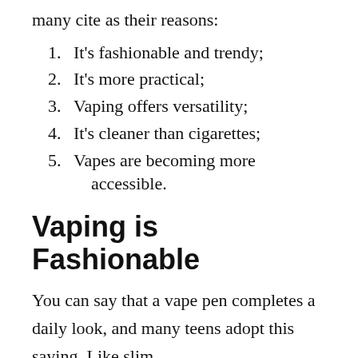many cite as their reasons:
1. It's fashionable and trendy;
2. It's more practical;
3. Vaping offers versatility;
4. It's cleaner than cigarettes;
5. Vapes are becoming more accessible.
Vaping is Fashionable
You can say that a vape pen completes a daily look, and many teens adopt this saying. Like slim